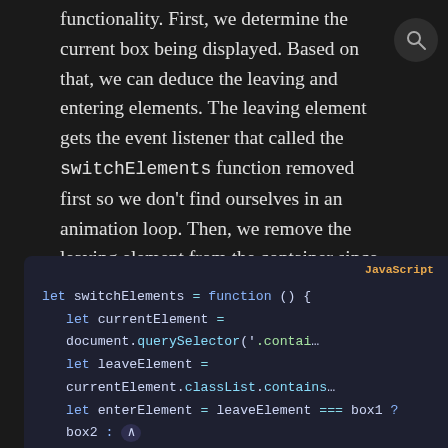functionality. First, we determine the current box being displayed. Based on that, we can deduce the leaving and entering elements. The leaving element gets the event listener that called the switchElements function removed first so we don't find ourselves in an animation loop. Then, we remove the leaving element from the container since its animation has finished. Next, we add the animation classes to the entering element and append it to the container so it'll animate into place.
[Figure (screenshot): JavaScript code block showing: let switchElements = function () { let currentElement = document.querySelector('.contain... let leaveElement = currentElement.classList.contains... let enterElement = leaveElement === box1 ? box2 : ... leaveElement.removeEventListener('animationend', swit...]